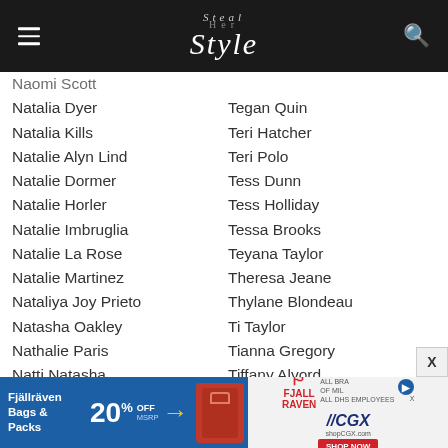Steal Her Style
Naomi Scott
Natalia Dyer
Natalia Kills
Natalie Alyn Lind
Natalie Dormer
Natalie Horler
Natalie Imbruglia
Natalie La Rose
Natalie Martinez
Nataliya Joy Prieto
Natasha Oakley
Nathalie Paris
Natti Natasha
Naya Rivera
Nazanin Mandi
Nell Tiger Free
Neon Hitch
Nerea Garmendia
Nia Lovelis
Nia Sioux Frazier
Tegan Quin
Teri Hatcher
Teri Polo
Tess Dunn
Tess Holliday
Tessa Brooks
Teyana Taylor
Theresa Jeane
Thylane Blondeau
Ti Taylor
Tianna Gregory
Tiffany Alvord
Tiffany Young
Tila Tequila
Tinashe
Tink
Tionne "T-Boz" Watkins
Tokyo Diiva
Tommie Lee
[Figure (screenshot): Advertisement banner for Fjallraven bags 20% off at CGX military exchange]